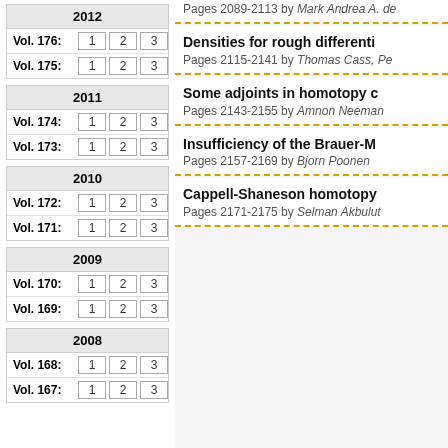| 2012 |
| --- |
| Vol. 176: | 1 | 2 | 3 |
| Vol. 175: | 1 | 2 | 3 |
| 2011 |
| --- |
| Vol. 174: | 1 | 2 | 3 |
| Vol. 173: | 1 | 2 | 3 |
| 2010 |
| --- |
| Vol. 172: | 1 | 2 | 3 |
| Vol. 171: | 1 | 2 | 3 |
| 2009 |
| --- |
| Vol. 170: | 1 | 2 | 3 |
| Vol. 169: | 1 | 2 | 3 |
| 2008 |
| --- |
| Vol. 168: | 1 | 2 | 3 |
| Vol. 167: | 1 | 2 | 3 |
Pages 2089-2113 by Mark Andrea A. de
Densities for rough differenti
Pages 2115-2141 by Thomas Cass, Pe
Some adjoints in homotopy c
Pages 2143-2155 by Amnon Neeman
Insufficiency of the Brauer-M
Pages 2157-2169 by Bjorn Poonen
Cappell-Shaneson homotopy
Pages 2171-2175 by Selman Akbulut